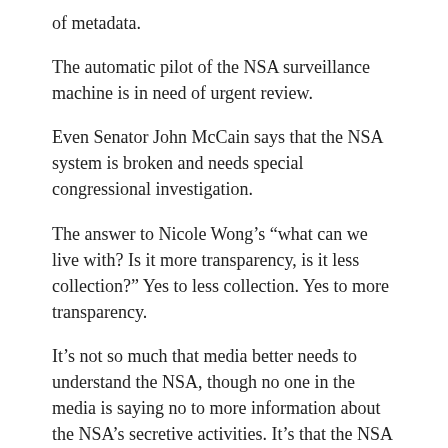of metadata.
The automatic pilot of the NSA surveillance machine is in need of urgent review.
Even Senator John McCain says that the NSA system is broken and needs special congressional investigation.
The answer to Nicole Wong’s “what can we live with? Is it more transparency, is it less collection?” Yes to less collection. Yes to more transparency.
It’s not so much that media better needs to understand the NSA, though no one in the media is saying no to more information about the NSA’s secretive activities. It’s that the NSA needs to better understand the Internet and media. It needs to understand technology, and understand media’s role in that technology. How the Internet is empowering new voices, voices that won’t stop crying out for a return of First Amendment freedom of speech rights. And privacy.